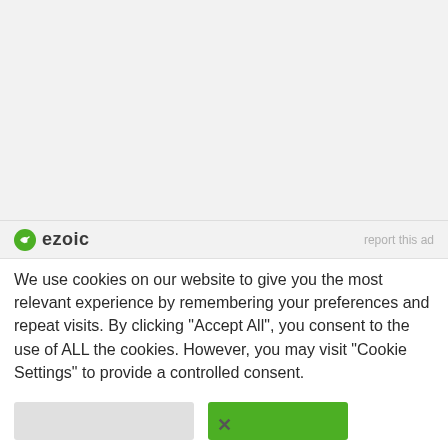[Figure (other): Ezoic advertisement placeholder area with light gray background]
ezoic   report this ad
We use cookies on our website to give you the most relevant experience by remembering your preferences and repeat visits. By clicking "Accept All", you consent to the use of ALL the cookies. However, you may visit "Cookie Settings" to provide a controlled consent.
[Figure (other): Two buttons: gray 'Cookie Settings' button and green 'Accept All' button]
×